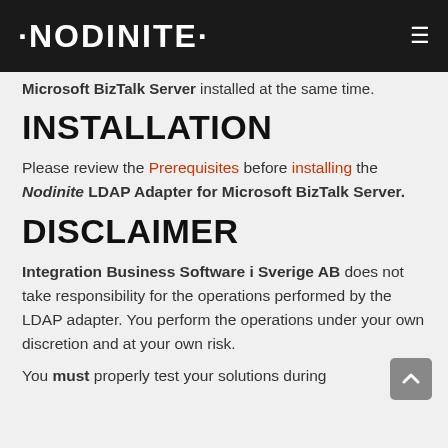NODINITE
Microsoft BizTalk Server installed at the same time.
INSTALLATION
Please review the Prerequisites before installing the Nodinite LDAP Adapter for Microsoft BizTalk Server.
DISCLAIMER
Integration Business Software i Sverige AB does not take responsibility for the operations performed by the LDAP adapter. You perform the operations under your own discretion and at your own risk.
You must properly test your solutions during